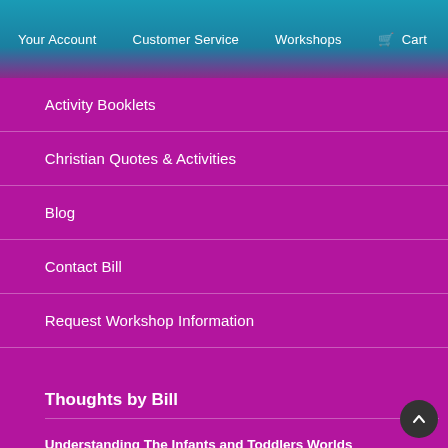Your Account  Customer Service  Workshops  Cart
Activity Booklets
Christian Quotes & Activities
Blog
Contact Bill
Request Workshop Information
Thoughts by Bill
Understanding The Infants and Toddlers Worlds
July 18, 2022
Sharing Approval
June 2, 2022